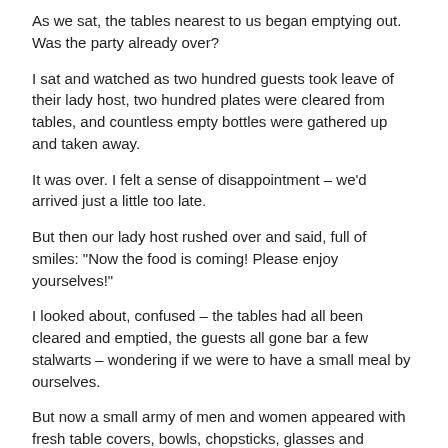As we sat, the tables nearest to us began emptying out. Was the party already over?
I sat and watched as two hundred guests took leave of their lady host, two hundred plates were cleared from tables, and countless empty bottles were gathered up and taken away.
It was over. I felt a sense of disappointment – we'd arrived just a little too late.
But then our lady host rushed over and said, full of smiles: "Now the food is coming! Please enjoy yourselves!"
I looked about, confused – the tables had all been cleared and emptied, the guests all gone bar a few stalwarts – wondering if we were to have a small meal by ourselves.
But now a small army of men and women appeared with fresh table covers, bowls, chopsticks, glasses and napkins, and began laying each of the twenty tables, again.